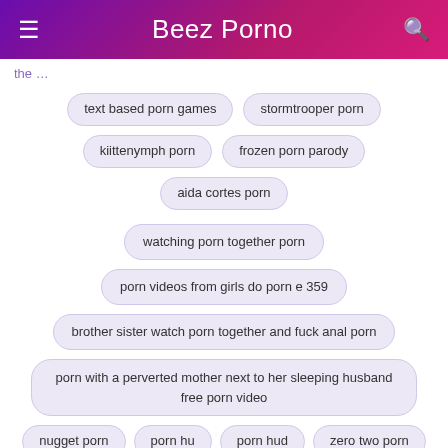Beez Porno
the …
text based porn games
stormtrooper porn
kiittenymph porn
frozen porn parody
aida cortes porn
watching porn together porn
porn videos from girls do porn e 359
brother sister watch porn together and fuck anal porn
porn with a perverted mother next to her sleeping husband free porn video
nugget porn
porn hu
porn hud
zero two porn
porn meme
free porn hub